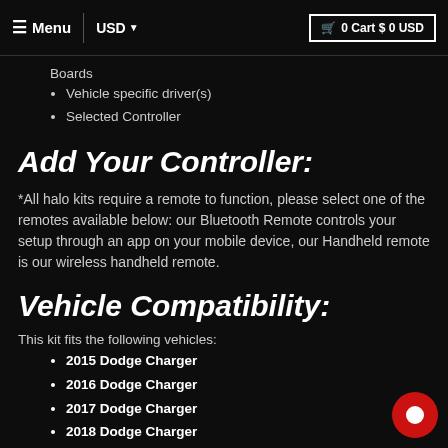≡ Menu | USD ▾   🛒 0 Cart $ 0 USD
Boards
Vehicle specific driver(s)
Selected Controller
Add Your Controller:
*All halo kits require a remote to function, please select one of the remotes available below: our Bluetooth Remote controls your setup through an app on your mobile device, our Handheld remote is our wireless handheld remote.
Vehicle Compatibility:
This kit fits the following vehicles:
2015 Dodge Charger
2016 Dodge Charger
2017 Dodge Charger
2018 Dodge Charger
2019 Dodge Charger
2020 Dodge Charger